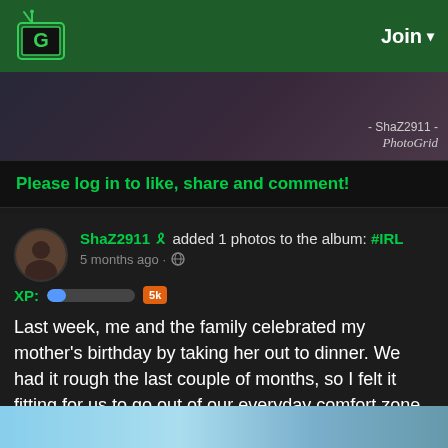[Figure (logo): Grouvi app logo - green G in a TV-shaped box with antenna]
Join ▾
[Figure (photo): Dark blurred image strip with watermark: - ShaZ2911 - PhotoGrid]
Please log in to like, share and comment!
ShaZ2911 🎗 added 1 photos to the album: #IRL
5 months ago · 🌐
XP: [progress bar] 5k
Last week, me and the family celebrated my mother's birthday by taking her out to dinner. We had it rough the last couple of months, so I felt it fitting for us to go out of our everyday comfort zone and enjoy ourselves. I believe my late father
Read more
[Figure (photo): Partial photo visible at bottom of page - blue sky outdoor scene]